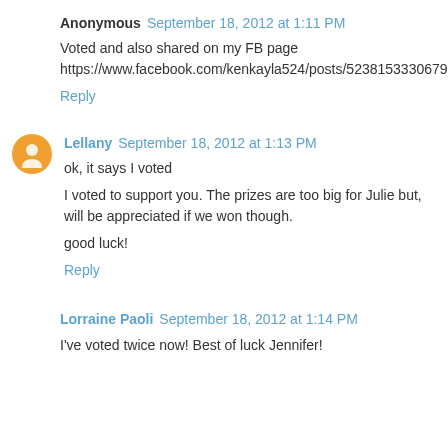Anonymous September 18, 2012 at 1:11 PM
Voted and also shared on my FB page https://www.facebook.com/kenkayla524/posts/523815333067918
Reply
Lellany September 18, 2012 at 1:13 PM
ok, it says I voted
I voted to support you. The prizes are too big for Julie but, will be appreciated if we won though.
good luck!
Reply
Lorraine Paoli September 18, 2012 at 1:14 PM
I've voted twice now! Best of luck Jennifer!